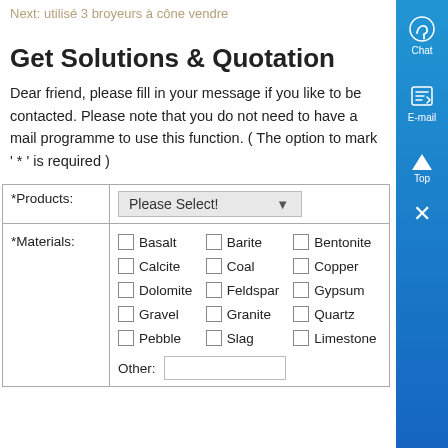Next: utilisé 3 broyeurs à cône vendre
Get Solutions & Quotation
Dear friend, please fill in your message if you like to be contacted. Please note that you do not need to have a mail programme to use this function. ( The option to mark ' * ' is required )
| *Products: | Please Select! |
| --- | --- |
| *Materials: | Basalt, Barite, Bentonite, Calcite, Coal, Copper, Dolomite, Feldspar, Gypsum, Gravel, Granite, Quartz, Pebble, Slag, Limestone, Other: [input] |